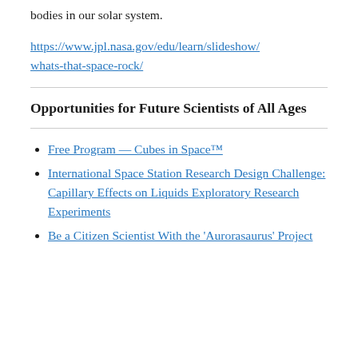bodies in our solar system.
https://www.jpl.nasa.gov/edu/learn/slideshow/whats-that-space-rock/
Opportunities for Future Scientists of All Ages
Free Program — Cubes in Space™
International Space Station Research Design Challenge: Capillary Effects on Liquids Exploratory Research Experiments
Be a Citizen Scientist With the 'Aurorasaurus' Project